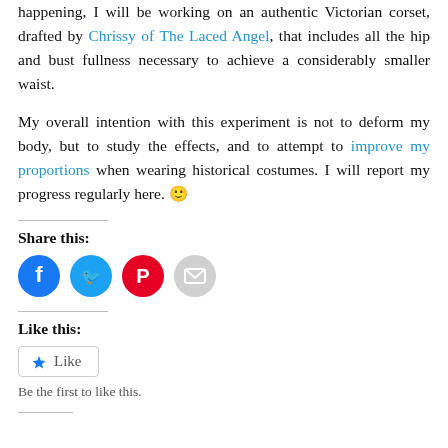happening, I will be working on an authentic Victorian corset, drafted by Chrissy of The Laced Angel, that includes all the hip and bust fullness necessary to achieve a considerably smaller waist.
My overall intention with this experiment is not to deform my body, but to study the effects, and to attempt to improve my proportions when wearing historical costumes. I will report my progress regularly here. 🙂
Share this:
[Figure (infographic): Social share buttons: Facebook (blue circle), Twitter (light blue circle), Pinterest (red circle), Email (grey circle)]
Like this:
[Figure (infographic): Like button with star icon]
Be the first to like this.